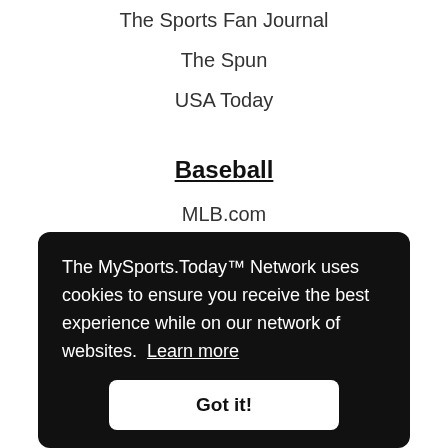The Sports Fan Journal
The Spun
USA Today
Baseball
MLB.com
Last Word On Baseball
MLB Trade Rumors
Climbing Tals Hill
The Crawfish Boxes
The MySports.Today™ Network uses cookies to ensure you receive the best experience while on our network of websites. Learn more
Last Word On Pro Basketball